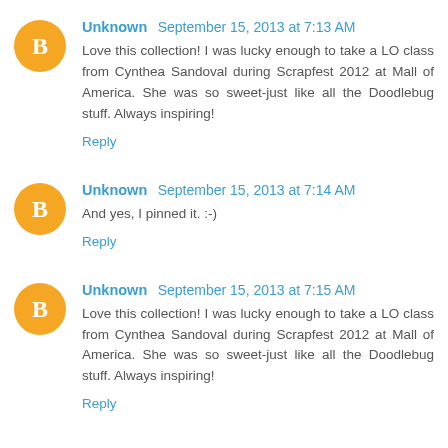Unknown  September 15, 2013 at 7:13 AM
Love this collection! I was lucky enough to take a LO class from Cynthea Sandoval during Scrapfest 2012 at Mall of America. She was so sweet-just like all the Doodlebug stuff. Always inspiring!
Reply
Unknown  September 15, 2013 at 7:14 AM
And yes, I pinned it. :-)
Reply
Unknown  September 15, 2013 at 7:15 AM
Love this collection! I was lucky enough to take a LO class from Cynthea Sandoval during Scrapfest 2012 at Mall of America. She was so sweet-just like all the Doodlebug stuff. Always inspiring!
Reply